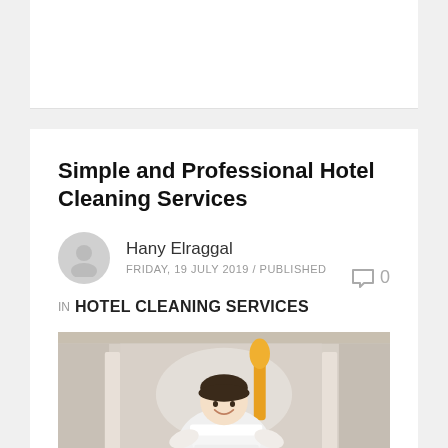Simple and Professional Hotel Cleaning Services
Hany Elraggal
FRIDAY, 19 JULY 2019 / PUBLISHED
IN HOTEL CLEANING SERVICES
[Figure (photo): A hotel housekeeper smiling and holding folded white towels, with a yellow feather duster visible in the background of a hotel corridor.]